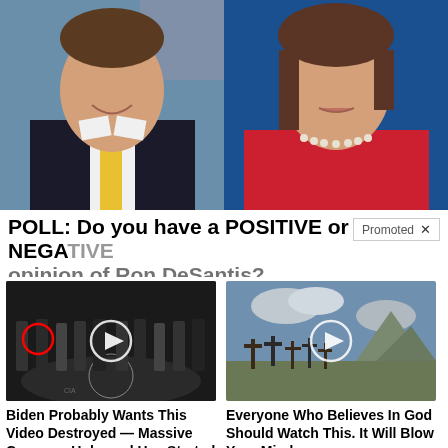[Figure (photo): Two side-by-side photos: left is a man in a dark suit with a yellow tie in front of an American flag, right is a woman in a red jacket speaking]
POLL: Do you have a POSITIVE or NEGATIVE opinion of Ron DeSantis?
[Figure (photo): Video thumbnail showing group of men in suits at CIA headquarters with a red circle around one figure and a play button overlay]
Biden Probably Wants This Video Destroyed — Massive Currency Upheaval Has Started
249,349
[Figure (photo): Video thumbnail showing crosses in a desert cemetery with mountains in background and a play button overlay]
Everyone Who Believes In God Should Watch This. It Will Blow Your Mind
2,856,907